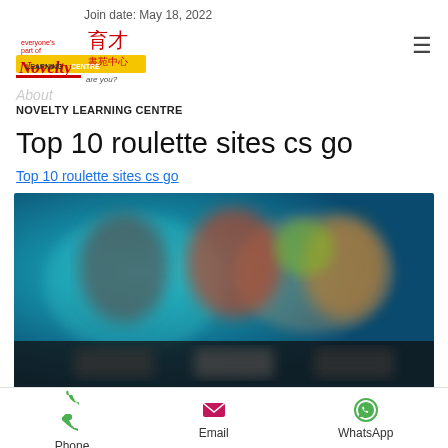Join date: May 18, 2022
[Figure (logo): Novelty Learning Centre logo with Chinese characters and tagline 'everyone's part of' and 'are you?']
About
NOVELTY LEARNING CENTRE
Top 10 roulette sites cs go
Top 10 roulette sites cs go
[Figure (screenshot): Blurred screenshot of a gaming/roulette website with colorful characters and UI elements on a teal/blue background]
Phone   Email   WhatsApp